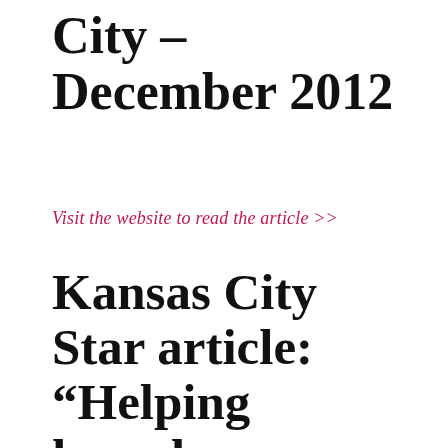City – December 2012
Visit the website to read the article >>
Kansas City Star article: “Helping homeless, one ride at a time” by Edward M. Fodd...